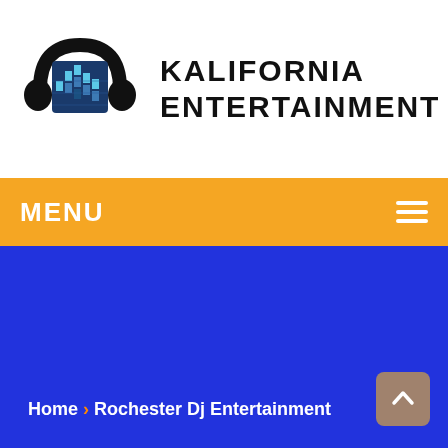[Figure (logo): Kalifornia Entertainment logo: headphones with a sound equalizer grid inside, black and blue tones]
KALIFORNIA ENTERTAINMENT
MENU
Home › Rochester Dj Entertainment